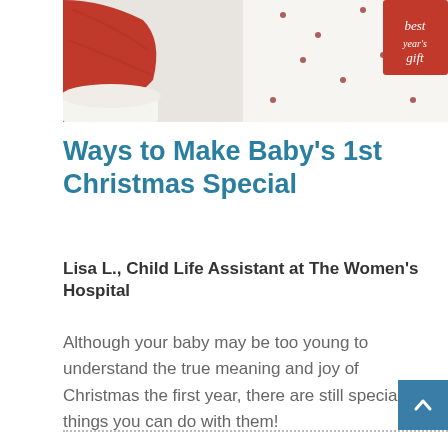[Figure (photo): Christmas-themed photo showing red and white knitted Santa hats and a gift tag reading 'best year's gift' on a white background with red dots]
Ways to Make Baby's 1st Christmas Special
Lisa L., Child Life Assistant at The Women's Hospital
Although your baby may be too young to understand the true meaning and joy of Christmas the first year, there are still special things you can do with them!